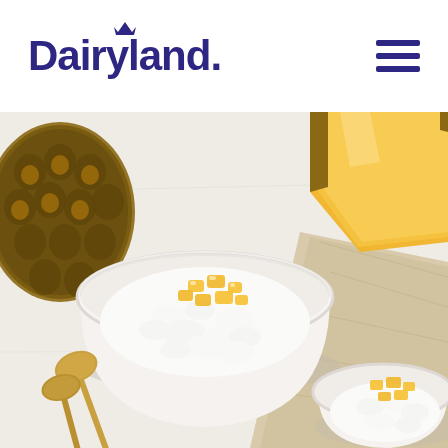[Figure (logo): Dairyland brand logo with navy blue text and small crown above the 'd', plus a hamburger menu icon on the right]
[Figure (photo): Overhead food photography showing two white ceramic bowls of cottage cheese topped with fresh diced pineapple chunks, placed on a white textured surface with a beige linen cloth. Fresh pineapple halves and golden spoons are visible around the bowls.]